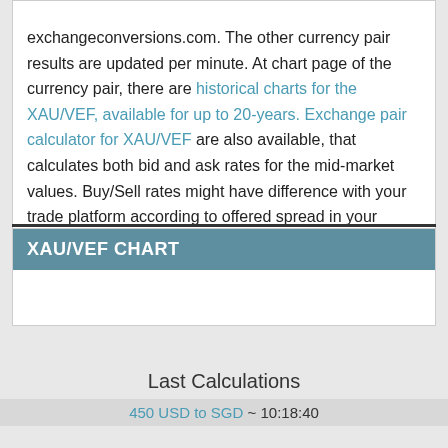exchangeconversions.com. The other currency pair results are updated per minute. At chart page of the currency pair, there are historical charts for the XAU/VEF, available for up to 20-years. Exchange pair calculator for XAU/VEF are also available, that calculates both bid and ask rates for the mid-market values. Buy/Sell rates might have difference with your trade platform according to offered spread in your account.
XAU/VEF CHART
[Figure (other): Empty XAU/VEF chart area placeholder]
Last Calculations
450 USD to SGD ~ 10:18:40